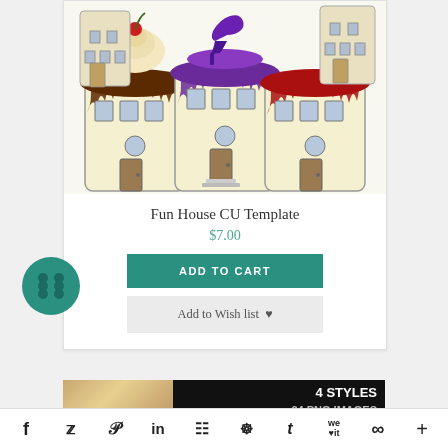[Figure (illustration): Cartoon illustration of three fantasy fun house buildings styled as cakes with dripping frosting in chocolate, purple, and red colors, with decorative items on top including a cupcake, a high heel shoe, and a pencil/paintbrush]
Fun House CU Template
$7.00
ADD TO CART
Add to Wish list ♥
[Figure (photo): Dark banner image with text '4 STYLES' and partial text below it]
f  y  P  in  B  W  t  we♥it  ∞  +